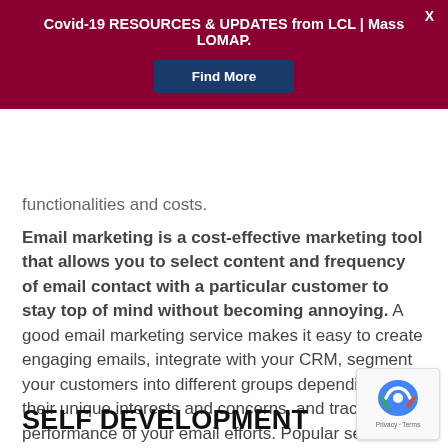Covid-19 RESOURCES & UPDATES from LCL | Mass LOMAP.
functionalities and costs.
Email marketing is a cost-effective marketing tool that allows you to select content and frequency of email contact with a particular customer to stay top of mind without becoming annoying. A good email marketing service makes it easy to create engaging emails, integrate with your CRM, segment your customers into different groups depending on their unique interests and concerns, and track the performance of your email efforts. Popular services include iContact, Constant Contact, ConvertKit, and MailChimp. Again, it is worth your time and effort to compare functionalities and costs.
SELF DEVELOPMENT